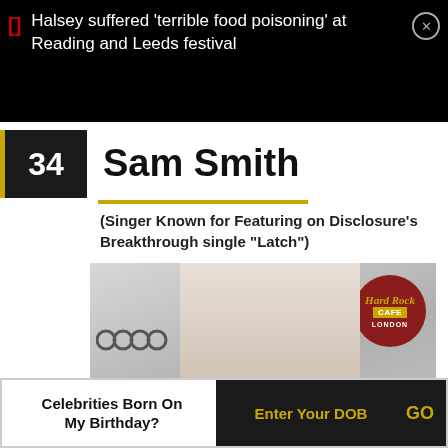Halsey suffered 'terrible food poisoning' at Reading and Leeds festival
34 Sam Smith
(Singer Known for Featuring on Disclosure's Breakthrough single "Latch")
[Figure (photo): Photo of Sam Smith at Hard Rock Cafe London event with Audi branding visible]
Celebrities Born On My Birthday? Enter Your DOB GO